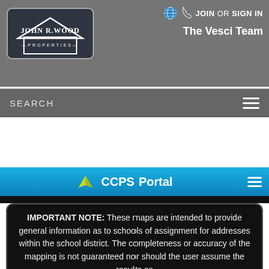[Figure (logo): John R. Wood Properties logo — white house outline with company name inside on gray background]
JOIN OR SIGN IN
The Vesci Team
SEARCH
[Figure (screenshot): CCPS Portal header bar with book/torch icon logo and hamburger menu]
IMPORTANT NOTE: These maps are intended to provide general information as to schools of assignment for addresses within the school district. The completeness or accuracy of the mapping is not guaranteed nor should the user assume the results as